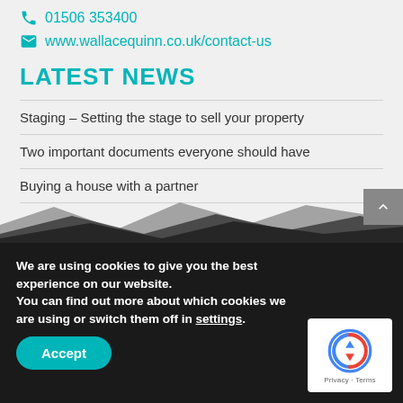01506 353400
www.wallacequinn.co.uk/contact-us
LATEST NEWS
Staging – Setting the stage to sell your property
Two important documents everyone should have
Buying a house with a partner
We are using cookies to give you the best experience on our website.
You can find out more about which cookies we are using or switch them off in settings.
Accept